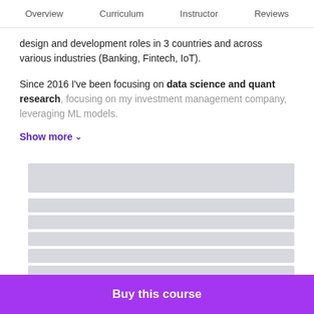Overview   Curriculum   Instructor   Reviews
design and development roles in 3 countries and across various industries (Banking, Fintech, IoT).
Since 2016 I've been focusing on data science and quant research, focusing on my investment management company, leveraging ML models.
Show more ∨
[Figure (screenshot): Loading skeleton placeholder bars representing course curriculum content]
Buy this course